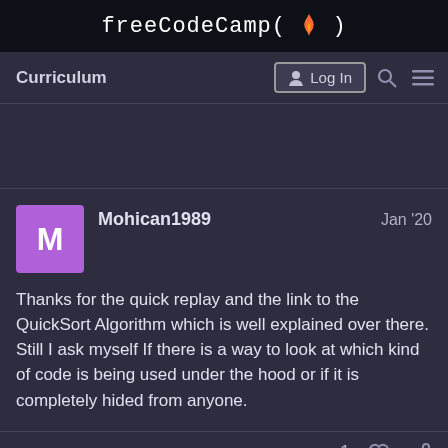freeCodeCamp(🔥)
Curriculum
Log In
Mohican1989    Jan '20
Thanks for the quick replay and the link to the QuickSort Algorithm which is well explained over there.
Still I ask myself If there is a way to look at which kind of code is being used under the hood or if it is completely hided from anyone.